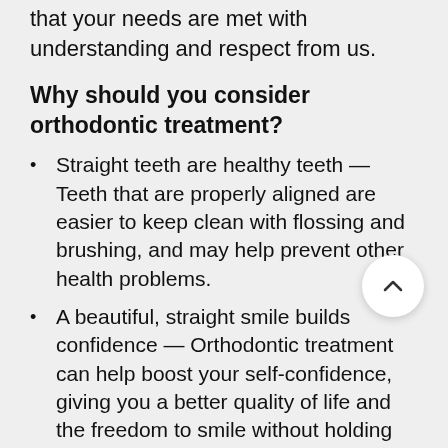that your needs are met with understanding and respect from us.
Why should you consider orthodontic treatment?
Straight teeth are healthy teeth — Teeth that are properly aligned are easier to keep clean with flossing and brushing, and may help prevent other health problems.
A beautiful, straight smile builds confidence — Orthodontic treatment can help boost your self-confidence, giving you a better quality of life and the freedom to smile without holding back!